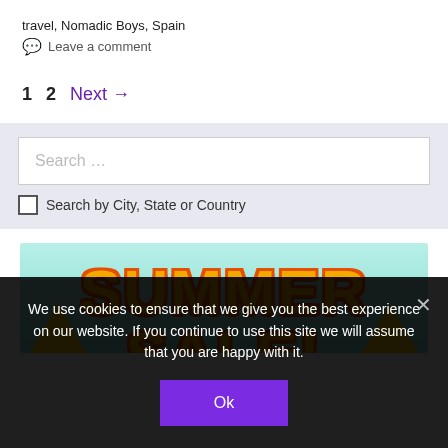travel, Nomadic Boys, Spain
Leave a comment
1  2  Next →
Search ...
Search by City, State or Country
[Figure (illustration): Summer Sale promotional banner with large yellow/orange bold text reading SUMMER SALE! on a light teal background with triangular decorative elements]
We use cookies to ensure that we give you the best experience on our website. If you continue to use this site we will assume that you are happy with it.
Ok